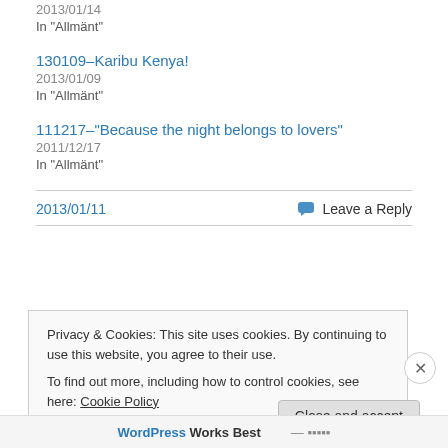2013/01/14
In "Allmänt"
130109–Karibu Kenya!
2013/01/09
In "Allmänt"
111217–"Because the night belongs to lovers"
2011/12/17
In "Allmänt"
2013/01/11
Leave a Reply
Privacy & Cookies: This site uses cookies. By continuing to use this website, you agree to their use.
To find out more, including how to control cookies, see here: Cookie Policy
Close and accept
WordPress Works Best